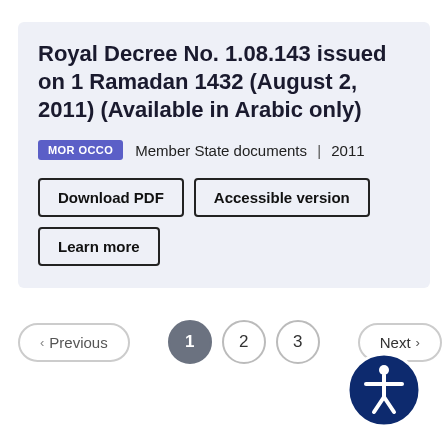Royal Decree No. 1.08.143 issued on 1 Ramadan 1432 (August 2, 2011) (Available in Arabic only)
MOROCCO  Member State documents | 2011
Download PDF  Accessible version  Learn more
[Figure (other): Pagination controls: Previous button, page numbers 1 (active), 2, 3, Next button]
[Figure (illustration): Accessibility icon: dark blue circle with white human figure with arms outstretched (universal accessibility symbol)]